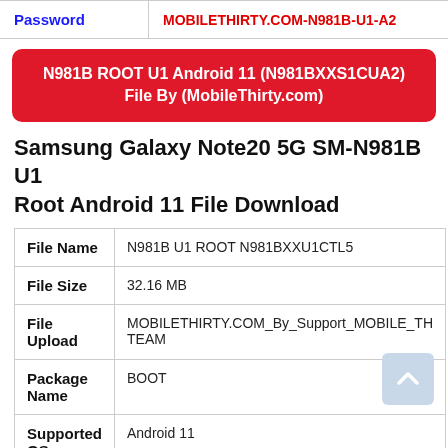| Password | MOBILETHIRTY.COM-N981B-U1-A2 |
| --- | --- |
N981B ROOT U1 Android 11 (N981BXXS1CUA2)
File By (MobileThirty.com)
Samsung Galaxy Note20 5G SM-N981B U1 Root Android 11 File Download
|  |  |
| --- | --- |
| File Name | N981B U1 ROOT N981BXXU1CTL5 |
| File Size | 32.16 MB |
| File Upload | MOBILETHIRTY.COM_By_Support_MOBILE_TH TEAM |
| Package Name | BOOT |
| Supported OS | Android 11 |
| Password | MOBILETHIRTY.COM-N981B-U1-L5 |